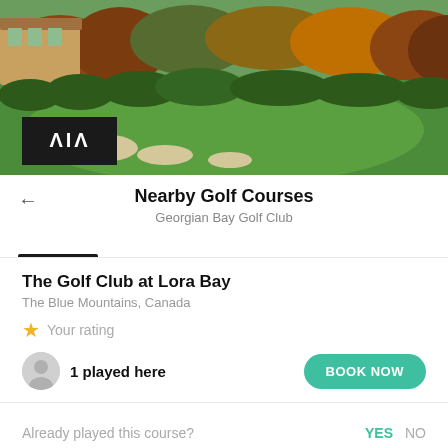[Figure (photo): Aerial view of a lush green golf course with sand bunkers and autumn-colored trees in the background. A building visible on the left. A dark logo overlay with stylized letters appears in the lower left corner of the image.]
Nearby Golf Courses
Georgian Bay Golf Club
The Golf Club at Lora Bay
The Blue Mountains, Canada
★ Your rating
1 played here
BOOK NOW
Already played this course?
YES   NO